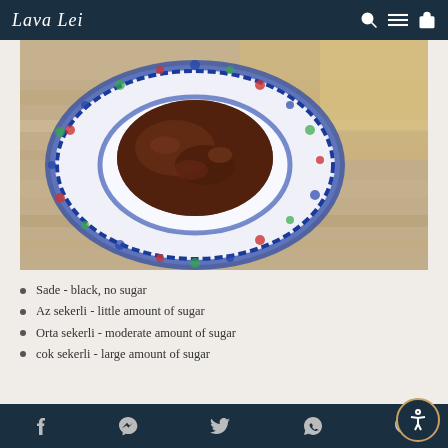Lava Lei — navigation bar with logo, search, menu, cart icons
[Figure (photo): Overhead view of a decorative Turkish coffee cup and saucer with blue floral pattern on a weathered wooden table.]
Sade - black, no sugar
Az sekerli - little amount of sugar
Orta sekerli - moderate amount of sugar
cok sekerli - large amount of sugar
Social media icons: Facebook, Messenger, Twitter, WhatsApp, Pinterest. Accessibility button.